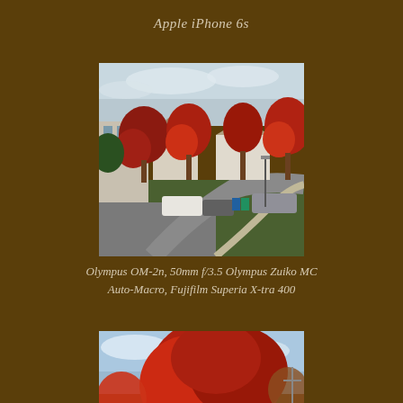Apple iPhone 6s
[Figure (photo): Suburban street scene in autumn with red maple trees, parked cars, houses, and a curved driveway with sidewalk. Shot on film camera giving a warm, slightly desaturated look.]
Olympus OM-2n, 50mm f/3.5 Olympus Zuiko MC Auto-Macro, Fujifilm Superia X-tra 400
[Figure (photo): Close-up view of a large red autumn maple tree against a blue sky with clouds, with a speed limit sign visible and green foliage below. Shot on film camera.]